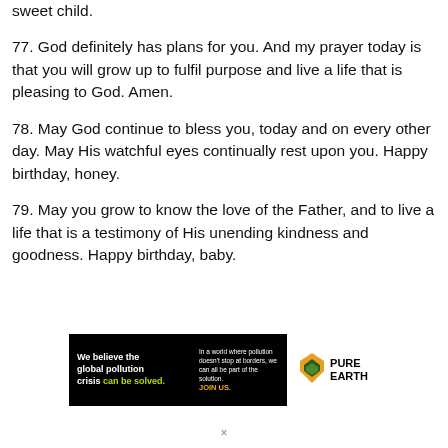sweet child.
77. God definitely has plans for you. And my prayer today is that you will grow up to fulfil purpose and live a life that is pleasing to God. Amen.
78. May God continue to bless you, today and on every other day. May His watchful eyes continually rest upon you. Happy birthday, honey.
79. May you grow to know the love of the Father, and to live a life that is a testimony of His unending kindness and goodness. Happy birthday, baby.
[Figure (infographic): Pure Earth advertisement banner: black background left section with text 'We believe the global pollution crisis can be solved.' and right section with Pure Earth logo and diamond icon on white background.]
×